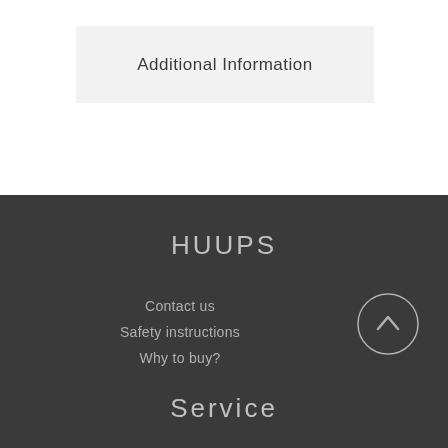Additional Information
HUUPS
Contact us
Safety instructions
Why to buy?
[Figure (illustration): Circular arrow-up scroll button icon]
Service